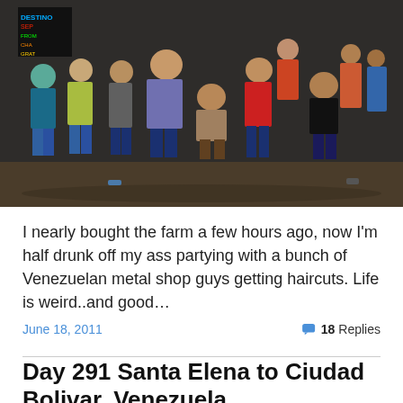[Figure (photo): Group photo of approximately 12-15 men posing together in a dimly lit outdoor or semi-outdoor setting with muddy ground. Men are wearing casual clothes — jeans, t-shirts, shorts. Some are making gestures. The scene appears festive or celebratory.]
I nearly bought the farm a few hours ago, now I'm half drunk off my ass partying with a bunch of Venezuelan metal shop guys getting haircuts. Life is weird..and good…
June 18, 2011       💬 18 Replies
Day 291 Santa Elena to Ciudad Bolivar, Venezuela